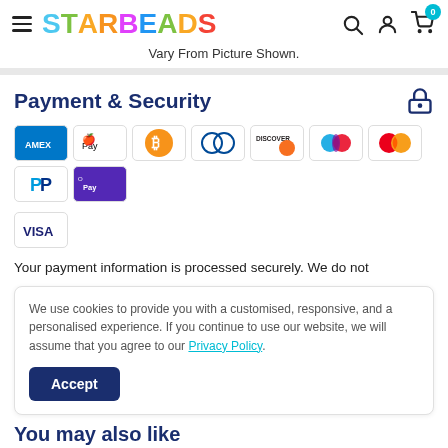STAR BEADS
Vary From Picture Shown.
Payment & Security
[Figure (other): Payment method icons: Amex, Apple Pay, Bitcoin, Diners Club, Discover, Elo, Mastercard, PayPal, Samsung Pay, Visa]
Your payment information is processed securely. We do not
We use cookies to provide you with a customised, responsive, and a personalised experience. If you continue to use our website, we will assume that you agree to our Privacy Policy.
Accept
You may also like